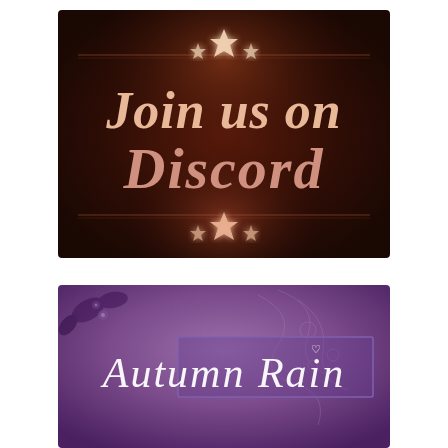[Figure (illustration): Dark brown/maroon banner with decorative stars and horizontal lines, featuring bold text 'Join us on Discord' in warm peach/terracotta tones.]
[Figure (illustration): Purple/pink banner with floral decorations and script text 'Autumn Rain' in white cursive font with a small heart above the 'i'. Background has swirling floral motifs and pink flowers at the bottom.]